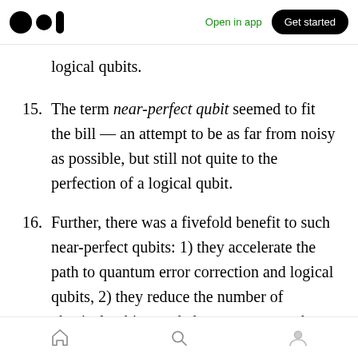Open in app  Get started
logical qubits.
15. The term near-perfect qubit seemed to fit the bill — an attempt to be as far from noisy as possible, but still not quite to the perfection of a logical qubit.
16. Further, there was a fivefold benefit to such near-perfect qubits: 1) they accelerate the path to quantum error correction and logical qubits, 2) they reduce the number of physical qubits needed to construct each logical qubit, 3) they increase the logical qubit capacity
Home  Search  Profile